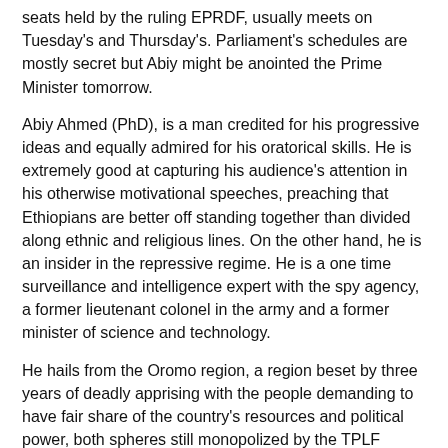seats held by the ruling EPRDF, usually meets on Tuesday's and Thursday's. Parliament's schedules are mostly secret but Abiy might be anointed the Prime Minister tomorrow.
Abiy Ahmed (PhD), is a man credited for his progressive ideas and equally admired for his oratorical skills. He is extremely good at capturing his audience's attention in his otherwise motivational speeches, preaching that Ethiopians are better off standing together than divided along ethnic and religious lines. On the other hand, he is an insider in the repressive regime. He is a one time surveillance and intelligence expert with the spy agency, a former lieutenant colonel in the army and a former minister of science and technology.
He hails from the Oromo region, a region beset by three years of deadly apprising with the people demanding to have fair share of the country's resources and political power, both spheres still monopolized by the TPLF oligarchs.
While some, including western allies of the regime, believe the electition of an Oromo would quell the fuming anger in the country's Oromo region and